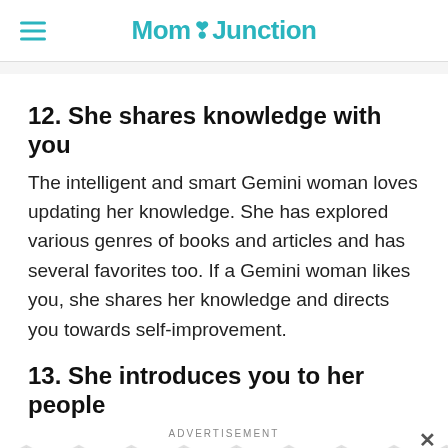MomJunction
12. She shares knowledge with you
The intelligent and smart Gemini woman loves updating her knowledge. She has explored various genres of books and articles and has several favorites too. If a Gemini woman likes you, she shares her knowledge and directs you towards self-improvement.
13. She introduces you to her people
ADVERTISEMENT